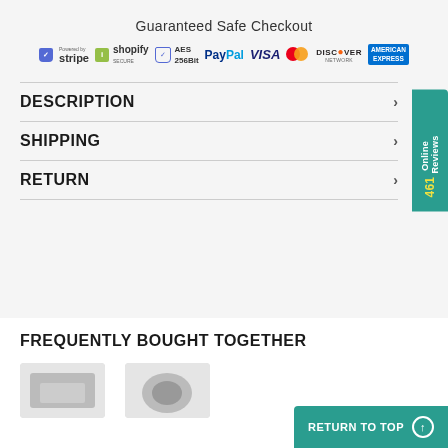Guaranteed Safe Checkout
[Figure (logo): Payment method logos: Stripe, Shopify Secure, AES 256Bit, PayPal, VISA, Mastercard, Discover Network, American Express]
DESCRIPTION
SHIPPING
RETURN
FREQUENTLY BOUGHT TOGETHER
[Figure (photo): Product images for frequently bought together section]
461 Online Reviews
RETURN TO TOP